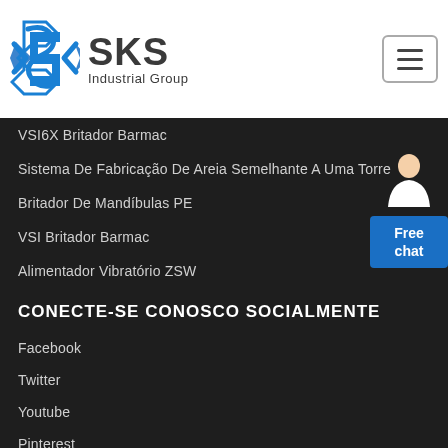[Figure (logo): SKS Industrial Group logo with blue angular S symbol and dark gray text]
VSI6X Britador Barmac
Sistema De Fabricação De Areia Semelhante A Uma Torre
Britador De Mandíbulas PE
VSI Britador Barmac
Alimentador Vibratório ZSW
CONECTE-SE CONOSCO SOCIALMENTE
Facebook
Twitter
Youtube
Pinterest